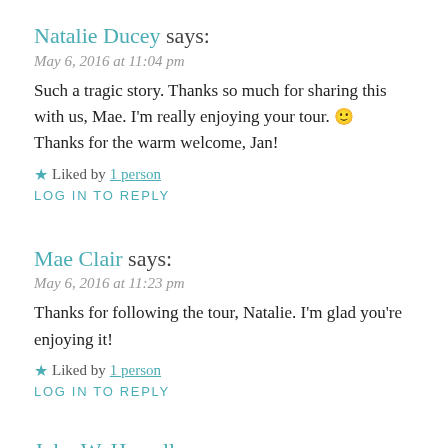Natalie Ducey says:
May 6, 2016 at 11:04 pm
Such a tragic story. Thanks so much for sharing this with us, Mae. I'm really enjoying your tour. 🙂
Thanks for the warm welcome, Jan!
★ Liked by 1 person
LOG IN TO REPLY
Mae Clair says:
May 6, 2016 at 11:23 pm
Thanks for following the tour, Natalie. I'm glad you're enjoying it!
★ Liked by 1 person
LOG IN TO REPLY
John W. Howell says: